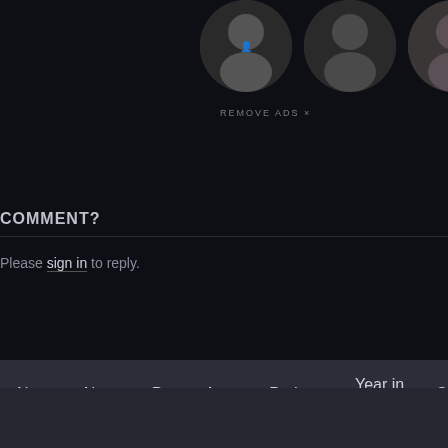[Figure (photo): Three circular user avatar photos partially visible at top of page]
REMOVE ADS ×
COMMENT?
Please sign in to reply.
About  News  Pro  Apps  Podcast  Year in Review  Gif
© Letterboxd Limited. Made by fans in Aotearoa. Film data from TMDb. Mobile